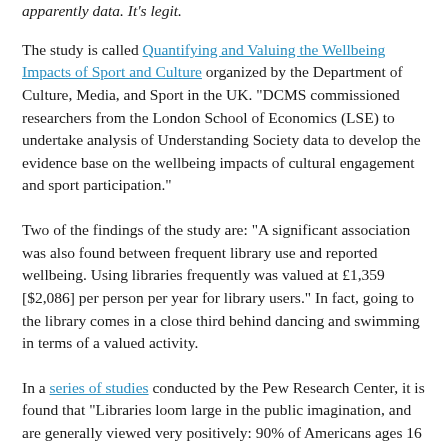apparently data. It's legit.
The study is called Quantifying and Valuing the Wellbeing Impacts of Sport and Culture organized by the Department of Culture, Media, and Sport in the UK. "DCMS commissioned researchers from the London School of Economics (LSE) to undertake analysis of Understanding Society data to develop the evidence base on the wellbeing impacts of cultural engagement and sport participation."
Two of the findings of the study are: "A significant association was also found between frequent library use and reported wellbeing. Using libraries frequently was valued at £1,359 [$2,086] per person per year for library users." In fact, going to the library comes in a close third behind dancing and swimming in terms of a valued activity.
In a series of studies conducted by the Pew Research Center, it is found that "Libraries loom large in the public imagination, and are generally viewed very positively: 90% of Americans ages 16 and older say that the closing of their local public library would have an impact on their community." People feel that libraries give everyone a